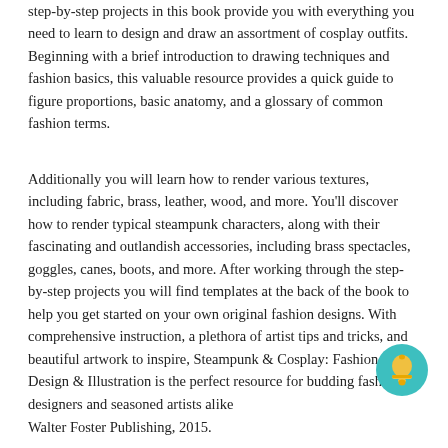step-by-step projects in this book provide you with everything you need to learn to design and draw an assortment of cosplay outfits. Beginning with a brief introduction to drawing techniques and fashion basics, this valuable resource provides a quick guide to figure proportions, basic anatomy, and a glossary of common fashion terms.
Additionally you will learn how to render various textures, including fabric, brass, leather, wood, and more. You'll discover how to render typical steampunk characters, along with their fascinating and outlandish accessories, including brass spectacles, goggles, canes, boots, and more. After working through the step-by-step projects you will find templates at the back of the book to help you get started on your own original fashion designs. With comprehensive instruction, a plethora of artist tips and tricks, and beautiful artwork to inspire, Steampunk & Cosplay: Fashion Design & Illustration is the perfect resource for budding fashion designers and seasoned artists alike
[Figure (illustration): A circular teal/cyan icon with a yellow bell or notification symbol inside]
Walter Foster Publishing, 2015.